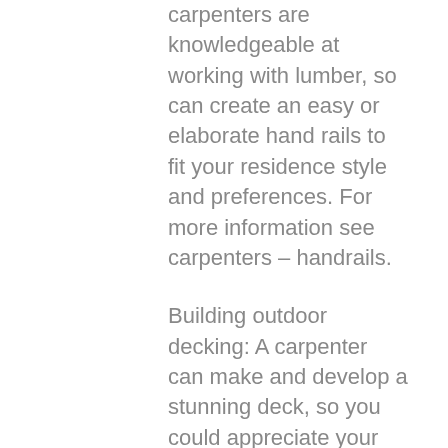carpenters are knowledgeable at working with lumber, so can create an easy or elaborate hand rails to fit your residence style and preferences. For more information see carpenters – handrails.
Building outdoor decking: A carpenter can make and develop a stunning deck, so you could appreciate your exterior room year-round. They could additionally mount needed devices such as stairs, ramps and hand rails. See structure outdoor decking for more.
Architraves: These are an eye-catching feature in any type of home, as they walk around windows or doors to hide